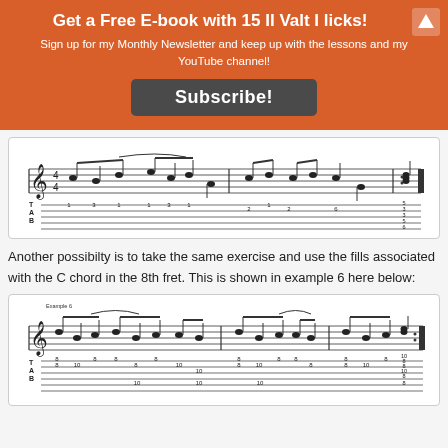Get a Free E-book with 15 II Valt I licks!
Sign up for my Monthly Newsletter and keep up with the lessons and my YouTube channel!
Subscribe!
[Figure (illustration): Guitar tablature and music notation showing a musical exercise with notes and fret numbers]
Another possibilty is to take the same exercise and use the fills associated with the C chord in the 8th fret. This is shown in example 6 here below:
[Figure (illustration): Guitar tablature labeled Example 6 showing a musical exercise with notes and fret numbers at higher positions (8th-10th frets)]